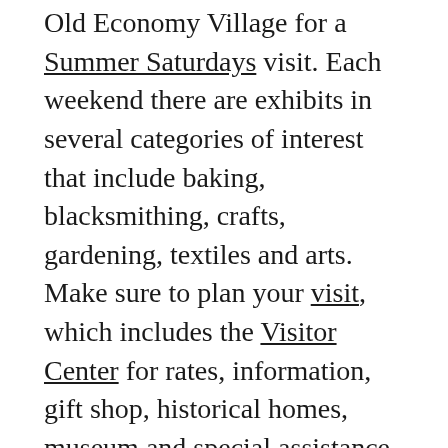Old Economy Village for a Summer Saturdays visit. Each weekend there are exhibits in several categories of interest that include baking, blacksmithing, crafts, gardening, textiles and arts. Make sure to plan your visit, which includes the Visitor Center for rates, information, gift shop, historical homes, museum and special assistance. There is a slideshow available depicting the historical events of Old Economy Village, which is a wonderful educational experience teaching about the surrounding area and culture of Beaver County.There are manuscripts, documents and photos to enhance the understanding of the Harmony Society, an interesting way to further understand the Pittsburgh region.